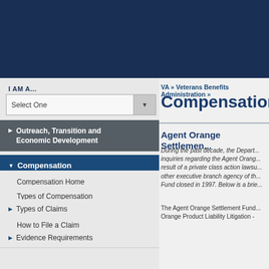[Figure (screenshot): Dark navy blue header banner for VA government website]
I AM A...
[Figure (screenshot): Select One dropdown box]
Outreach, Transition and Economic Development
Compensation
Compensation Home
Types of Compensation
Types of Claims
How to File a Claim
Evidence Requirements
VA » Veterans Benefits Administration »
Compensation
Agent Orange Settlemen...
During the past decade, the Depart... inquiries regarding the Agent Orang... result of a private class action lawsu... other executive branch agency of th... Fund closed in 1997. Below is a brie...
The Agent Orange Settlement Fund... Orange Product Liability Litigation -